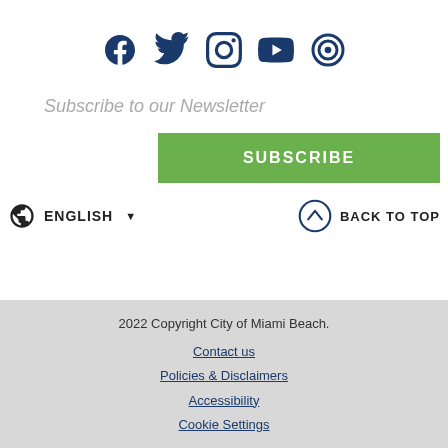[Figure (illustration): Social media icons: Facebook, Twitter, Instagram, YouTube, and a circular target/Nextdoor icon, all in dark navy blue]
Subscribe to our Newsletter
SUBSCRIBE
🌐 ENGLISH ▼
BACK TO TOP
2022 Copyright City of Miami Beach.
Contact us
Policies & Disclaimers
Accessibility
Cookie Settings